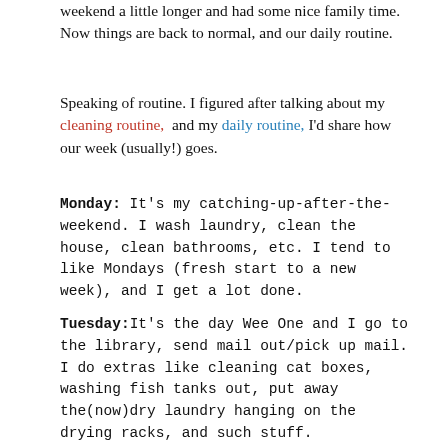weekend a little longer and had some nice family time. Now things are back to normal, and our daily routine.
Speaking of routine. I figured after talking about my cleaning routine, and my daily routine, I'd share how our week (usually!) goes.
Monday: It's my catching-up-after-the-weekend. I wash laundry, clean the house, clean bathrooms, etc. I tend to like Mondays (fresh start to a new week), and I get a lot done.
Tuesday: It's the day Wee One and I go to the library, send mail out/pick up mail. I do extras like cleaning cat boxes, washing fish tanks out, put away the(now)dry laundry hanging on the drying racks, and such stuff.